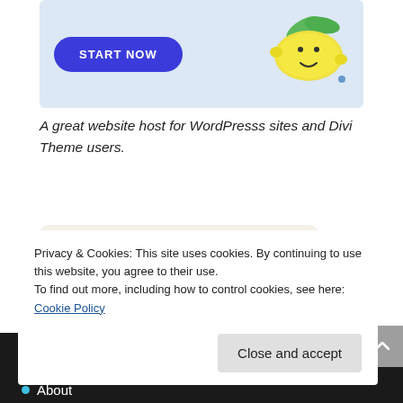[Figure (illustration): Ad banner with light blue background, a blue 'START NOW' rounded button on the left, and a lemon illustration on the right]
A great website host for WordPresss sites and Divi Theme users.
[Figure (logo): Scrivener logo banner with beige background showing stylized 'S' logo and text 'Scrivener – Get your words out.']
Privacy & Cookies: This site uses cookies. By continuing to use this website, you agree to their use.
To find out more, including how to control cookies, see here: Cookie Policy
About